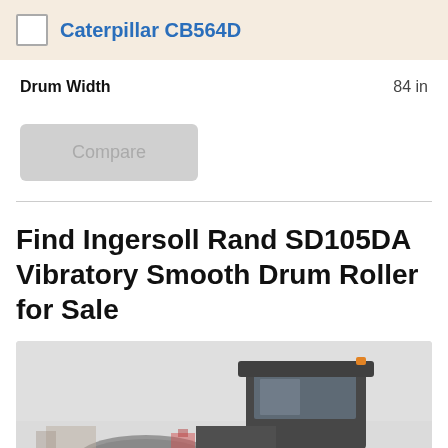Caterpillar CB564D
Drum Width    84 in
Compare
Find Ingersoll Rand SD105DA Vibratory Smooth Drum Roller for Sale
[Figure (photo): Photo of Ingersoll Rand SD105DA Vibratory Smooth Drum Roller in a snowy/foggy outdoor setting, showing the cab and front drum of the machine.]